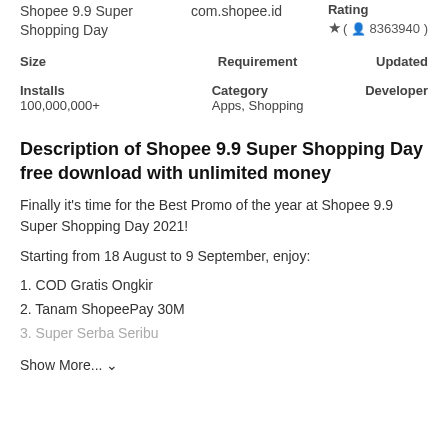Shopee 9.9 Super Shopping Day   com.shopee.id
Rating ★ ( 👤 8363940 )
| Size | Requirement | Updated |
| --- | --- | --- |
|   |   |   |
| Installs | Category | Developer |
| --- | --- | --- |
| 100,000,000+ | Apps, Shopping |   |
Description of Shopee 9.9 Super Shopping Day free download with unlimited money
Finally it's time for the Best Promo of the year at Shopee 9.9 Super Shopping Day 2021!
Starting from 18 August to 9 September, enjoy:
1. COD Gratis Ongkir
2. Tanam ShopeePay 30M
3. Super Serba Seribu
Show More... ∨